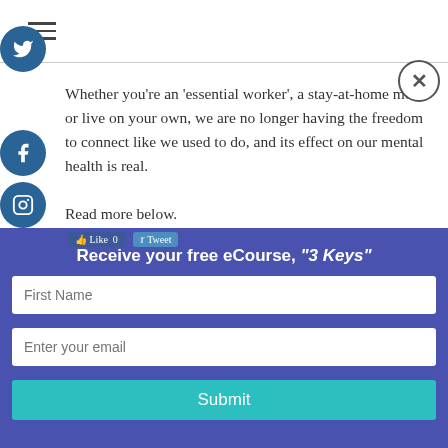Whether you're an 'essential worker', a stay-at-home mom, or live on your own, we are no longer having the freedom to connect like we used to do, and its effect on our mental health is real.
Read more below.
Read More
Receive your free eCourse, "3 Keys"
First Name
Enter your email
Submit